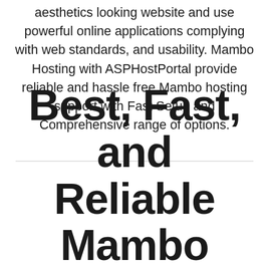aesthetics looking website and use powerful online applications complying with web standards, and usability. Mambo Hosting with ASPHostPortal provide reliable and hassle free Mambo hosting support with Fast Setup and Comprehensive range of options.
Best, Fast, and Reliable Mambo